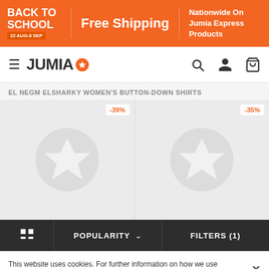[Figure (screenshot): Jumia e-commerce website screenshot showing Back to School free shipping banner, Jumia logo navigation bar, product listing for El Negm Elsharky Women's Button-Down Shirts with two placeholder product cards showing -39% and -35% discounts, a bottom navigation bar with grid view, popularity sort, and filters options, and a cookie consent banner.]
BACK TO SCHOOL 22 AUG-8 SEP
Free Shipping
Nationwide On Jumia Express Products
JUMIA
EL NEGM ELSHARKY WOMEN'S BUTTON-DOWN SHIRTS
-39%
-35%
POPULARITY ∨
FILTERS (1)
This website uses cookies. For further information on how we use cookies you can read our Privacy and Cookie notice